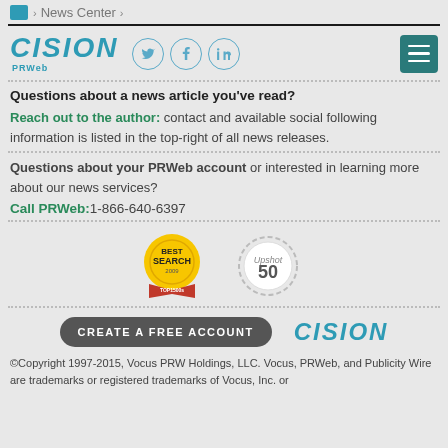News Center
[Figure (logo): CISION PRWeb logo with Twitter, Facebook, LinkedIn social icons and hamburger menu button]
Questions about a news article you've read?
Reach out to the author: contact and available social following information is listed in the top-right of all news releases.
Questions about your PRWeb account or interested in learning more about our news services?
Call PRWeb: 1-866-640-6397
[Figure (logo): Best Search award badge and Upshot 50 award badge]
[Figure (other): CREATE A FREE ACCOUNT button and CISION logo]
©Copyright 1997-2015, Vocus PRW Holdings, LLC. Vocus, PRWeb, and Publicity Wire are trademarks or registered trademarks of Vocus, Inc. or